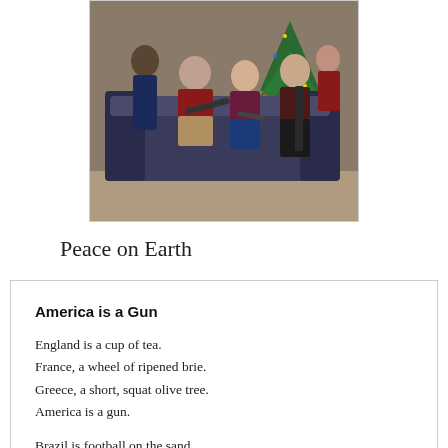[Figure (photo): Family group photo with several people seated on a couch/chair, posing with firearms, in front of a decorated Christmas tree. Casual home setting.]
Peace on Earth
America is a Gun
England is a cup of tea.
France, a wheel of ripened brie.
Greece, a short, squat olive tree.
America is a gun.
Brazil is football on the sand.
Argentina, Maradona's hand.
Germany, an oompah band.